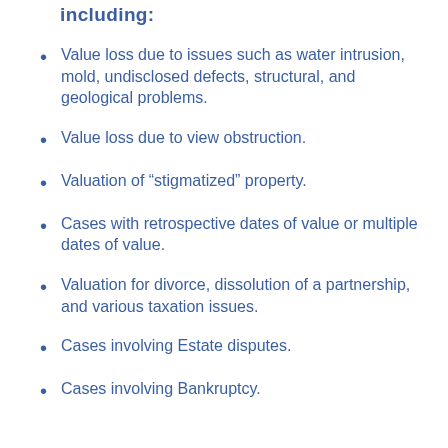including:
Value loss due to issues such as water intrusion, mold, undisclosed defects, structural, and geological problems.
Value loss due to view obstruction.
Valuation of “stigmatized” property.
Cases with retrospective dates of value or multiple dates of value.
Valuation for divorce, dissolution of a partnership, and various taxation issues.
Cases involving Estate disputes.
Cases involving Bankruptcy.